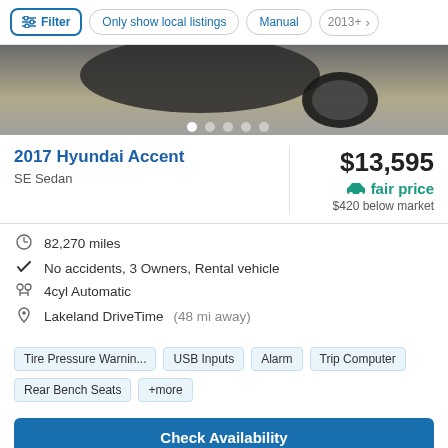Filter | Only show local listings | Manual | 2013+
[Figure (photo): Partial top-down view of a dark car in a garage, with image navigation dots below.]
2017 Hyundai Accent
SE Sedan
$13,595
fair price
$420 below market
82,270 miles
No accidents, 3 Owners, Rental vehicle
4cyl Automatic
Lakeland DriveTime (48 mi away)
Tire Pressure Warnin... | USB Inputs | Alarm | Trip Computer | Rear Bench Seats | +more
Check Availability